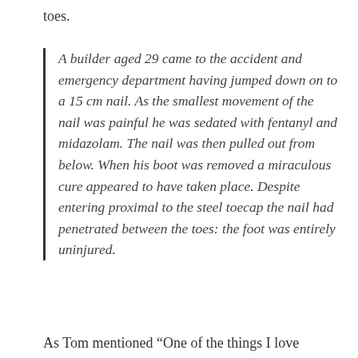toes.
A builder aged 29 came to the accident and emergency department having jumped down on to a 15 cm nail. As the smallest movement of the nail was painful he was sedated with fentanyl and midazolam. The nail was then pulled out from below. When his boot was removed a miraculous cure appeared to have taken place. Despite entering proximal to the steel toecap the nail had penetrated between the toes: the foot was entirely uninjured.
As Tom mentioned “One of the things I love